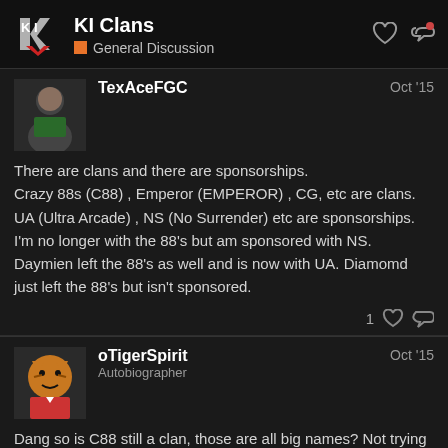KI Clans — General Discussion
TexAceFGC — Oct '15
There are clans and there are sponsorships.
Crazy 88s (C88) , Emperor (EMPEROR) , CG, etc are clans.
UA (Ultra Arcade) , NS (No Surrender) etc are sponsorships.
I'm no longer with the 88's but am sponsored with NS. Daymien left the 88's as well and is now with UA. Diamomd just left the 88's but isn't sponsored.
oTigerSpirit — Autobiographer — Oct '15
Dang so is C88 still a clan, those are all big names? Not trying to discredit the crew but I have not heard of other names at your guy's caliber.